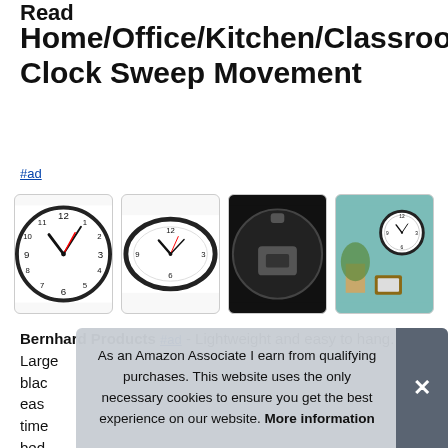Read
Home/Office/Kitchen/Classroom/School Clock Sweep Movement
#ad
[Figure (photo): Four product images of a wall clock: close-up of clock face, full clock view, back of clock mechanism, and clock mounted on teal wall]
Bernhard Products #ad - Lightweight and easy to hang. Large blac eas time bed business.
As an Amazon Associate I earn from qualifying purchases. This website uses the only necessary cookies to ensure you get the best experience on our website. More information